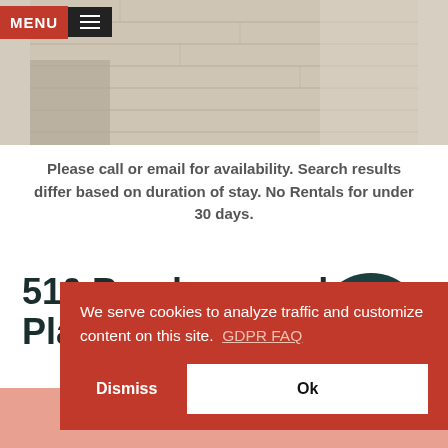MENU
[Figure (photo): Interior room photo showing light wood-grain flooring near the top of the page]
Please call or email for availability. Search results differ based on duration of stay. No Rentals for under 30 days.
510 Brackenwood Place
[Figure (infographic): Dark teal circular badge reading SLEEPS 4]
Golf
We serve cookies to analyze traffic and customize content on this site.  GDPR FAQ
Dismiss    Ok